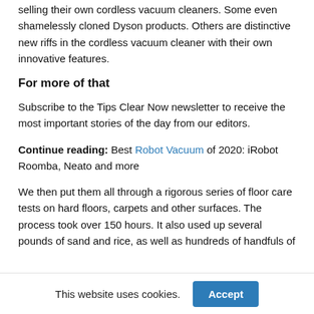selling their own cordless vacuum cleaners. Some even shamelessly cloned Dyson products. Others are distinctive new riffs in the cordless vacuum cleaner with their own innovative features.
For more of that
Subscribe to the Tips Clear Now newsletter to receive the most important stories of the day from our editors.
Continue reading: Best Robot Vacuum of 2020: iRobot Roomba, Neato and more
We then put them all through a rigorous series of floor care tests on hard floors, carpets and other surfaces. The process took over 150 hours. It also used up several pounds of sand and rice, as well as hundreds of handfuls of
This website uses cookies. Accept